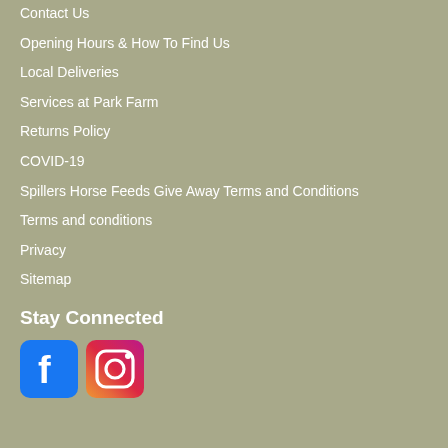Contact Us
Opening Hours & How To Find Us
Local Deliveries
Services at Park Farm
Returns Policy
COVID-19
Spillers Horse Feeds Give Away Terms and Conditions
Terms and conditions
Privacy
Sitemap
Stay Connected
[Figure (illustration): Facebook and Instagram social media icons]